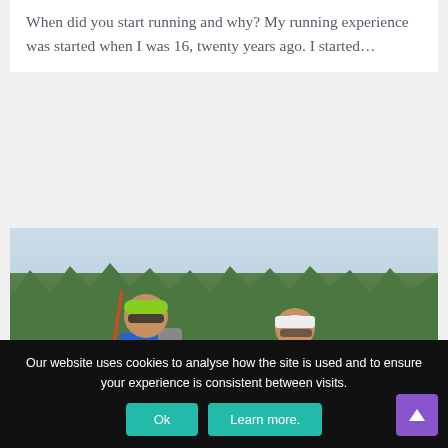When did you start running and why? My running experience was started when I was 16, twenty years ago. I started…
[Figure (photo): Two trail runners/hikers outdoors on a hillside trail. The man on the left wears a blue shirt, green headband, sunglasses, and carries trekking poles; the woman on the right wears a red and black top, white cap, and glasses. Trees and hills visible in background.]
Our website uses cookies to analyse how the site is used and to ensure your experience is consistent between visits.